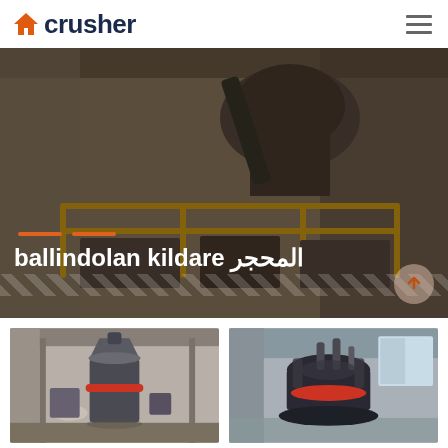crusher
[Figure (photo): Industrial crusher/mill machinery in a dusty factory setting with yellow safety railing, overhead conveyor/drum equipment. Text overlay: 'ballindolan kildare المحجر']
ballindolan kildare المحجر
[Figure (photo): Industrial vertical mill/grinder machine inside a warehouse building]
[Figure (photo): Industrial crusher machine inside a warehouse/factory building]